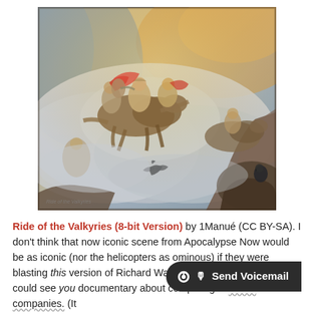[Figure (illustration): A dramatic oil painting depicting the Ride of the Valkyries — armored warrior women on horseback charging through stormy clouds, with ravens and rocky cliffs below. Rich colors of grey, brown, red, and gold.]
Ride of the Valkyries (8-bit Version) by 1Manué (CC BY-SA). I don't think that now iconic scene from Apocalypse Now would be as iconic (nor the helicopters as ominous) if they were blasting this version of Richard Wagner's opera classic. But I could see you [using it for a] documentary about competing software companies. (It